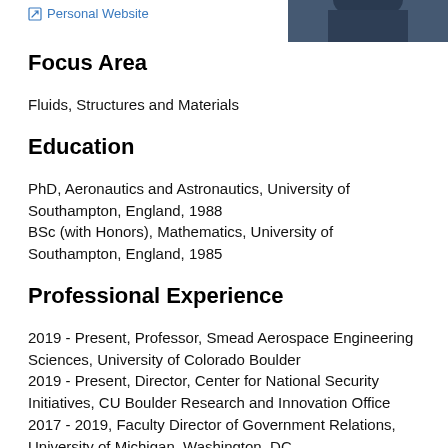Personal Website
[Figure (photo): Partial photo of a person in dark clothing, upper right corner]
Focus Area
Fluids, Structures and Materials
Education
PhD, Aeronautics and Astronautics, University of Southampton, England, 1988
BSc (with Honors), Mathematics, University of Southampton, England, 1985
Professional Experience
2019 - Present, Professor, Smead Aerospace Engineering Sciences, University of Colorado Boulder
2019 - Present, Director, Center for National Security Initiatives, CU Boulder Research and Innovation Office
2017 - 2019, Faculty Director of Government Relations, University of Michigan, Washington, DC